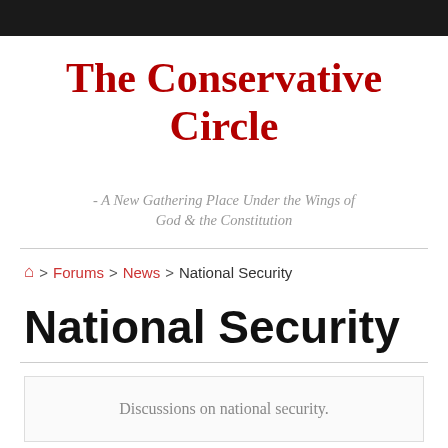The Conservative Circle
- A New Gathering Place Under the Wings of God & the Constitution
Home > Forums > News > National Security
National Security
Discussions on national security.